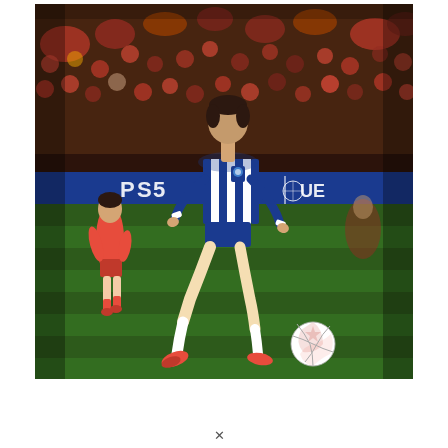[Figure (photo): A football/soccer match scene showing a Porto player in blue and white vertical striped kit dribbling with the ball, with a Liverpool player in red kit visible in the background. The stadium has a blue UEFA Champions League PS5 advertising board visible. The ball is a white UEFA Champions League match ball. The crowd fills the stands in the background.]